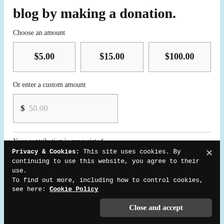blog by making a donation.
Choose an amount
| $5.00 | $15.00 | $100.00 |
Or enter a custom amount
$ 50.00
Your contribution is appreciated.
Privacy & Cookies: This site uses cookies. By continuing to use this website, you agree to their use.
To find out more, including how to control cookies, see here: Cookie Policy
Close and accept